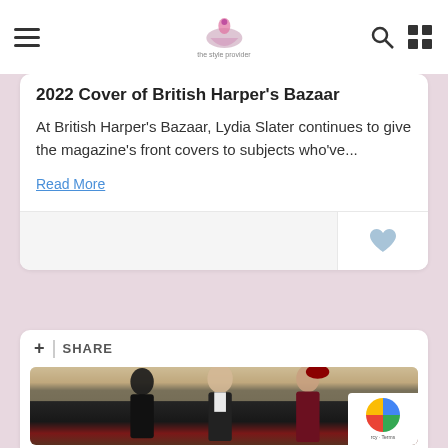Navigation header with hamburger menu, logo, search and grid icons
2022 Cover of British Harper's Bazaar
At British Harper's Bazaar, Lydia Slater continues to give the magazine's front covers to subjects who've...
Read More
+ | SHARE
[Figure (photo): Three people posing at a formal event, one man in tuxedo flanked by two women in evening wear, standing on a red carpet with floral decorations]